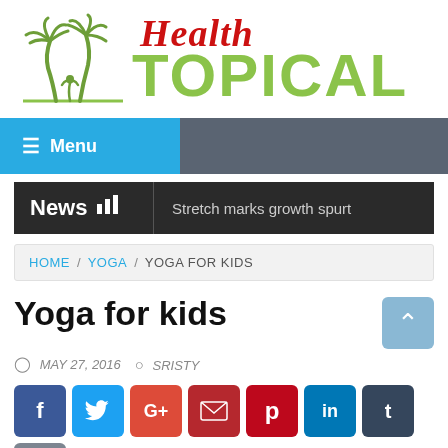[Figure (logo): Health Topical logo with palm tree silhouettes on the left and text 'HEALTH TOPICAL' on the right, where 'HEALTH' is in red italic script and 'TOPICAL' is in large green bold sans-serif]
≡ Menu
News  Stretch marks growth spurt
HOME / YOGA / YOGA FOR KIDS
Yoga for kids
MAY 27, 2016   SRISTY
[Figure (infographic): Row of social media share buttons: Facebook (blue), Twitter (light blue), Google+ (orange-red), Email (dark red), Pinterest (red), LinkedIn (blue), Tumblr (dark navy), Print (gray)]